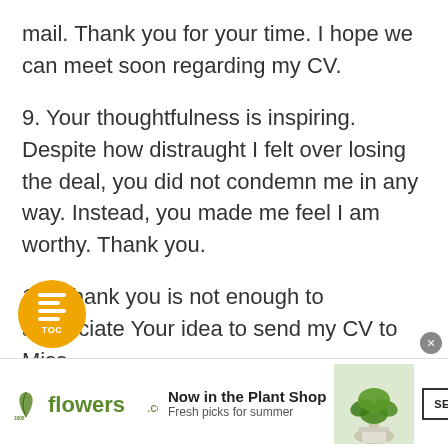mail. Thank you for your time. I hope we can meet soon regarding my CV.
9. Your thoughtfulness is inspiring. Despite how distraught I felt over losing the deal, you did not condemn me in any way. Instead, you made me feel I am worthy. Thank you.
10. Thank you is not enough to appreciate Your idea to send my CV to Miss
[Figure (other): Orange circular TOC (Table of Contents) button with list icon and TOC label]
[Figure (other): Grey circular close/dismiss button (x)]
[Figure (other): 1800flowers.com advertisement banner: Now in the Plant Shop, Fresh picks for summer, with plant image and SEE WHAT'S NEW button]